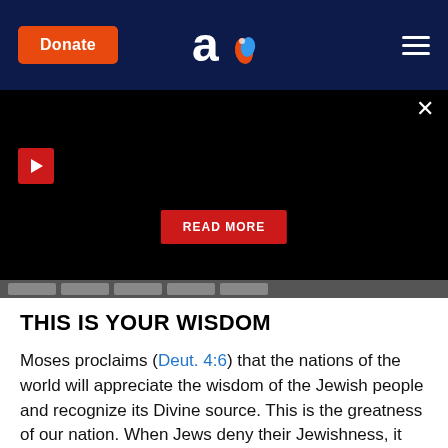Donate | [Aish logo] | Menu
[Figure (screenshot): Black video/media panel with a red play button icon in upper-left, a close (X) button in upper-right, a red READ MORE button centered near the bottom, and a row of gray slider tabs at the bottom]
THIS IS YOUR WISDOM
Moses proclaims (Deut. 4:6) that the nations of the world will appreciate the wisdom of the Jewish people and recognize its Divine source. This is the greatness of our nation. When Jews deny their Jewishness, it brings on the disdain of non-Jews. Germany, which had widespread assimilation, saw the greatest outburst of anti-Semitism in history.